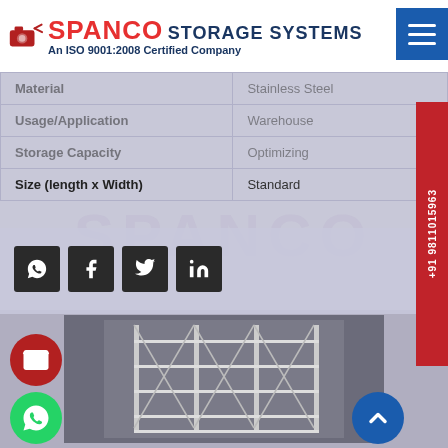[Figure (logo): Spanco Storage Systems logo with red SPANCO text, blue STORAGE SYSTEMS text, and ISO certification tagline]
| Material | Stainless Steel |
| --- | --- |
| Usage/Application | Warehouse |
| Storage Capacity | Optimizing |
| Size (length x Width) | Standard |
[Figure (other): Social share buttons: WhatsApp, Facebook, Twitter, LinkedIn]
[Figure (photo): Black and white photo of warehouse rack/storage shelving structure interior]
+91 9811015963